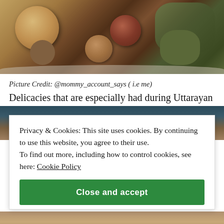[Figure (photo): Photo of Indian food items including round fried balls and green coated items on a metal plate]
Picture Credit: @mommy_account_says ( i.e me)
Delicacies that are especially had during Uttarayan
[Figure (photo): Partially visible food photo behind cookie consent banner]
Privacy & Cookies: This site uses cookies. By continuing to use this website, you agree to their use.
To find out more, including how to control cookies, see here: Cookie Policy
Close and accept